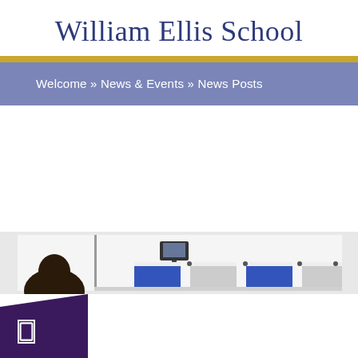William Ellis School
Welcome » News & Events » News Posts
[Figure (photo): A wide horizontal photo strip showing an art exhibition or display inside a school room, with several blue and white artworks displayed on tables, a monitor visible, and a student's head visible on the left side.]